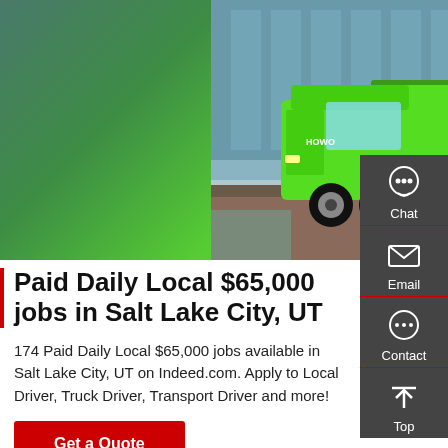[Figure (photo): A bright green HOWO dump truck parked outside a building with glass facade]
Paid Daily Local $65,000 jobs in Salt Lake City, UT
174 Paid Daily Local $65,000 jobs available in Salt Lake City, UT on Indeed.com. Apply to Local Driver, Truck Driver, Transport Driver and more!
Get a Quote